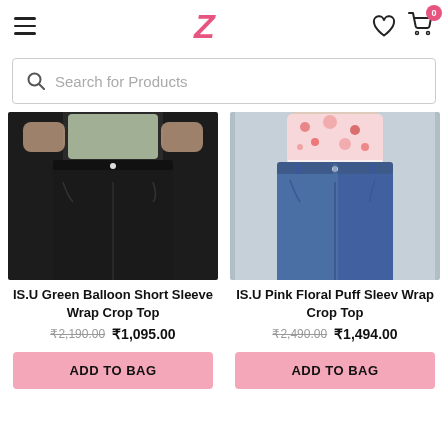Zivame app header with hamburger menu, Z logo, heart icon, and shopping cart with badge 0
Search for Products
[Figure (photo): Product photo: IS.U Green Balloon Short Sleeve Wrap Crop Top - shows black high-waist jeans with floral crop top, cropped view]
IS.U Green Balloon Short Sleeve Wrap Crop Top
₹2,190.00  ₹1,095.00
ADD TO BAG
[Figure (photo): Product photo: IS.U Pink Floral Puff Sleeve Wrap Crop Top - shows blue denim high-waist jeans with pink floral crop top, cropped view]
IS.U Pink Floral Puff Sleeve Wrap Crop Top
₹2,490.00  ₹1,494.00
ADD TO BAG